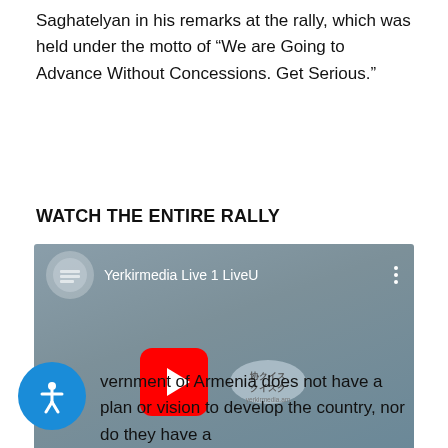Saghatelyan in his remarks at the rally, which was held under the motto of “We are Going to Advance Without Concessions. Get Serious.”
WATCH THE ENTIRE RALLY
[Figure (screenshot): An embedded YouTube video player showing 'Yerkirmedia Live 1 LiveU' with a red play button in the center and the Yerkirmedia channel logo to the right.]
vernment of Armenia does not have a plan or vision to develop the country, nor do they have a